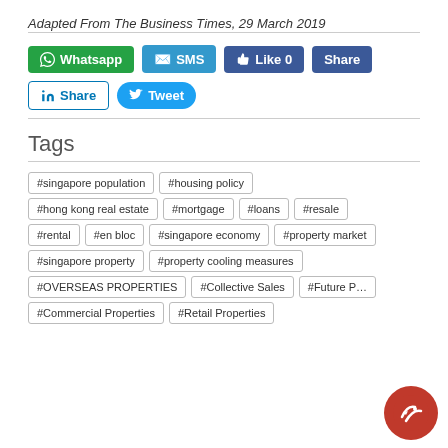Adapted From The Business Times, 29 March 2019
[Figure (other): Social sharing buttons: Whatsapp, SMS, Like 0, Share, LinkedIn Share, Tweet]
Tags
#singapore population
#housing policy
#hong kong real estate
#mortgage
#loans
#resale
#rental
#en bloc
#singapore economy
#property market
#singapore property
#property cooling measures
#OVERSEAS PROPERTIES
#Collective Sales
#Future P…
#Commercial Properties
#Retail Properties